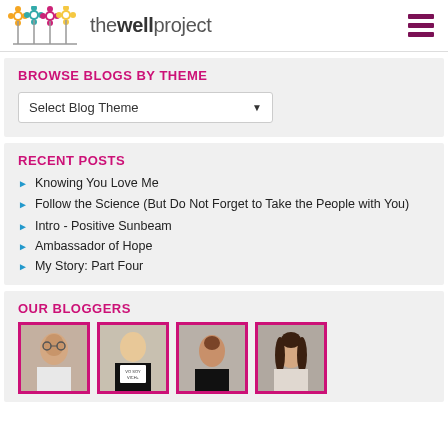thewellproject
BROWSE BLOGS BY THEME
Select Blog Theme
RECENT POSTS
Knowing You Love Me
Follow the Science (But Do Not Forget to Take the People with You)
Intro - Positive Sunbeam
Ambassador of Hope
My Story: Part Four
OUR BLOGGERS
[Figure (photo): Four blogger profile photos in a row with pink borders]